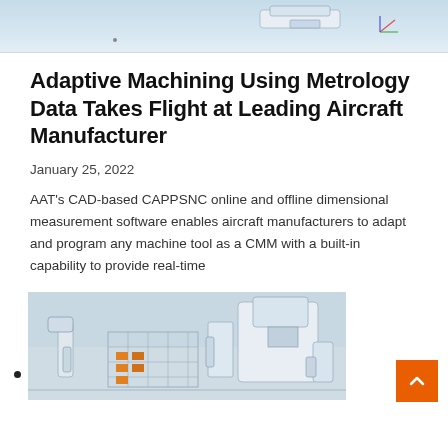[Figure (illustration): Top partial image showing a CAD rendering of an aircraft or mechanical component with light blue background]
Adaptive Machining Using Metrology Data Takes Flight at Leading Aircraft Manufacturer
January 25, 2022
AAT's CAD-based CAPPSNC online and offline dimensional measurement software enables aircraft manufacturers to adapt and program any machine tool as a CMM with a built-in capability to provide real-time
[Figure (illustration): 3D rendering of industrial machining/manufacturing equipment with robotic arms, CNC machines, and metal workholding fixtures in a factory setting]